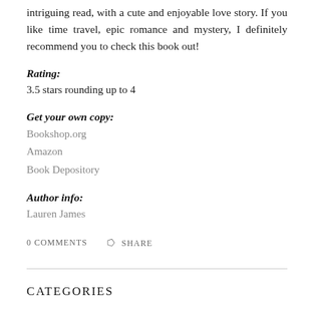intriguing read, with a cute and enjoyable love story. If you like time travel, epic romance and mystery, I definitely recommend you to check this book out!
Rating:
3.5 stars rounding up to 4
Get your own copy:
Bookshop.org
Amazon
Book Depository
Author info:
Lauren James
0 COMMENTS   SHARE
CATEGORIES